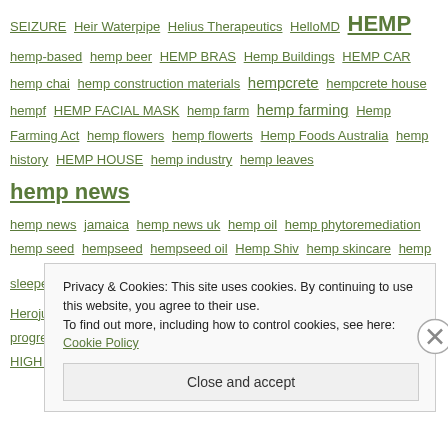SEIZURE Heir Waterpipe Helius Therapeutics HelloMD HEMP hemp-based hemp beer HEMP BRAS Hemp Buildings HEMP CAR hemp chai hemp construction materials hempcrete hempcrete house hempf HEMP FACIAL MASK hemp farm hemp farming Hemp Farming Act hemp flowers hemp flowerts Hemp Foods Australia hemp history HEMP HOUSE hemp industry hemp leaves hemp news hemp news jamaica hemp news uk hemp oil hemp phytoremediation hemp seed hempseed hempseed oil Hemp Shiv hemp skincare hemp sleeper HempTank hemp uk herbalist herbs heroin Herojuana Hexo Hexo Corp he's improving every week and making progress HGH Seed Hi-Fi Hops HIGH DRIVE high society High Times HIGH TIMES CANNABIS CUP Hikurangi Enterprises Hikurangi Hemp
Privacy & Cookies: This site uses cookies. By continuing to use this website, you agree to their use. To find out more, including how to control cookies, see here: Cookie Policy
Close and accept